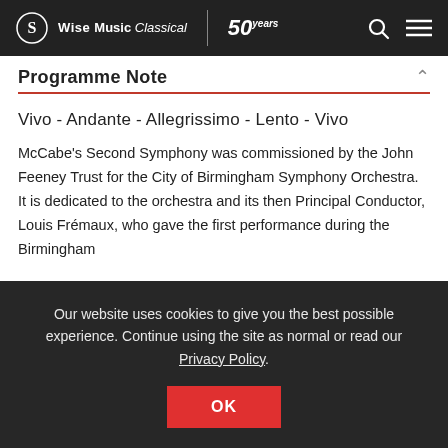Wise Music Classical | 50 years
Programme Note
Vivo - Andante - Allegrissimo - Lento - Vivo
McCabe's Second Symphony was commissioned by the John Feeney Trust for the City of Birmingham Symphony Orchestra. It is dedicated to the orchestra and its then Principal Conductor, Louis Frémaux, who gave the first performance during the Birmingham
Our website uses cookies to give you the best possible experience. Continue using the site as normal or read our Privacy Policy .
OK